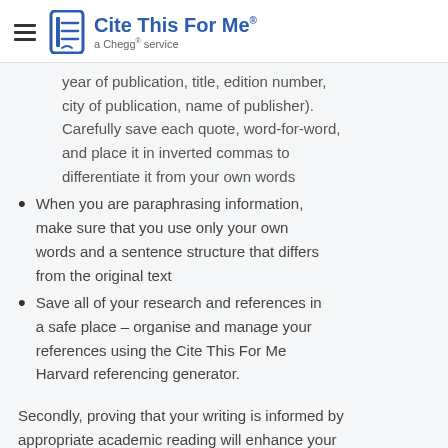Cite This For Me® — a Chegg® service
year of publication, title, edition number, city of publication, name of publisher). Carefully save each quote, word-for-word, and place it in inverted commas to differentiate it from your own words
When you are paraphrasing information, make sure that you use only your own words and a sentence structure that differs from the original text
Save all of your research and references in a safe place – organise and manage your references using the Cite This For Me Harvard referencing generator.
Secondly, proving that your writing is informed by appropriate academic reading will enhance your